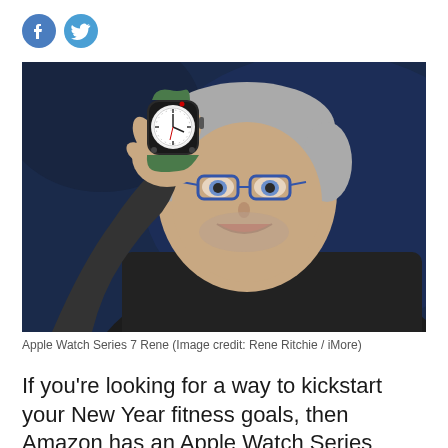[Figure (logo): Facebook and Twitter social media icons (circular, blue)]
[Figure (photo): A smiling man with grey hair and blue-rimmed glasses holding up an Apple Watch Series 7 with a green band against a dark blue background]
Apple Watch Series 7 Rene (Image credit: Rene Ritchie / iMore)
If you're looking for a way to kickstart your New Year fitness goals, then Amazon has an Apple Watch Series